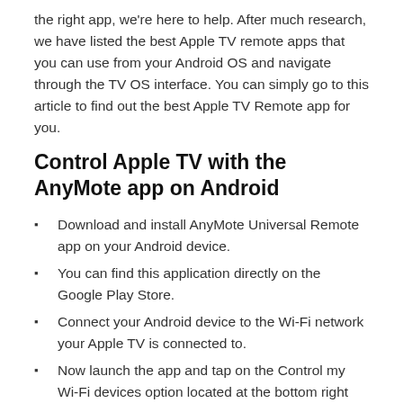the right app, we're here to help. After much research, we have listed the best Apple TV remote apps that you can use from your Android OS and navigate through the TV OS interface. You can simply go to this article to find out the best Apple TV Remote app for you.
Control Apple TV with the AnyMote app on Android
Download and install AnyMote Universal Remote app on your Android device.
You can find this application directly on the Google Play Store.
Connect your Android device to the Wi-Fi network your Apple TV is connected to.
Now launch the app and tap on the Control my Wi-Fi devices option located at the bottom right corner of the screen.
Select Apple TV and wait for the app to detect your streaming device. Once detected, select it.